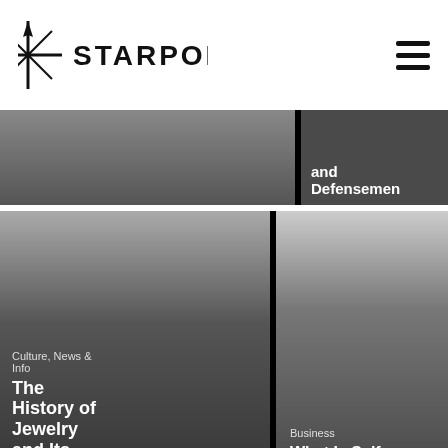[Figure (logo): STARPOD logo with star/compass icon on the left and bold uppercase STARPOD text]
[Figure (other): Hamburger menu icon (three horizontal lines)]
and Defensemen
Culture, News & Info
The History of Jewelry and Its Role in
Business
What Is Self-Service Analytics?